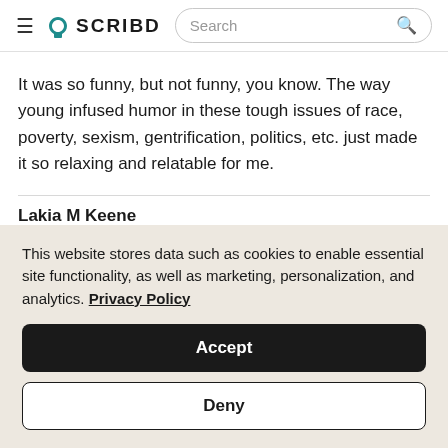SCRIBD — Search
It was so funny, but not funny, you know. The way young infused humor in these tough issues of race, poverty, sexism, gentrification, politics, etc. just made it so relaxing and relatable for me.
Lakia M Keene
★★★★★ (5/5)
This website stores data such as cookies to enable essential site functionality, as well as marketing, personalization, and analytics. Privacy Policy
Accept
Deny